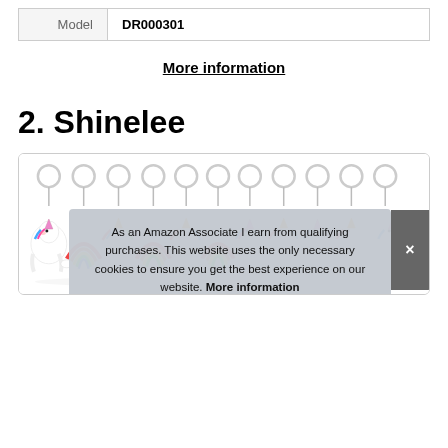| Model | DR000301 |
| --- | --- |
More information
2. Shinelee
[Figure (photo): Row of unicorn and rainbow keychains displayed on a card]
As an Amazon Associate I earn from qualifying purchases. This website uses the only necessary cookies to ensure you get the best experience on our website. More information